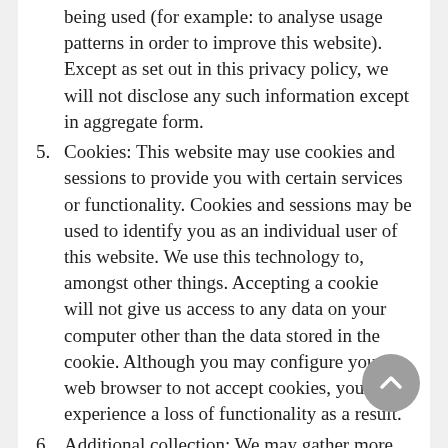being used (for example: to analyse usage patterns in order to improve this website). Except as set out in this privacy policy, we will not disclose any such information except in aggregate form.
5. Cookies: This website may use cookies and sessions to provide you with certain services or functionality. Cookies and sessions may be used to identify you as an individual user of this website. We use this technology to, amongst other things. Accepting a cookie will not give us access to any data on your computer other than the data stored in the cookie. Although you may configure your web browser to not accept cookies, you may experience a loss of functionality as a result.
6. Additional collection: We may gather more extensive information if we are concerned, for example, about abnormal website usage patterns